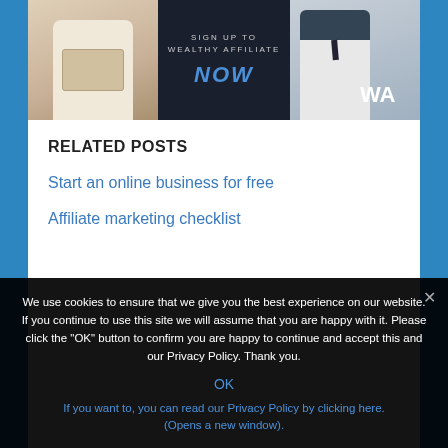[Figure (screenshot): Wealthy Affiliate sign up banner with woman using laptop on left, dark center panel with text SIGN UP TO WEALTHY AFFILIATE NOW, and man in business attire on right with WA logo]
RELATED POSTS
Start an online business for free
Affiliate marketing checklist
We use cookies to ensure that we give you the best experience on our website. If you continue to use this site we will assume that you are happy with it. Please click the "OK" button to confirm you are happy to continue and accept this and our Privacy Policy. Thank you.
OK
If you want to, you can read our Privacy Policy by clicking here. (Opens a new window).